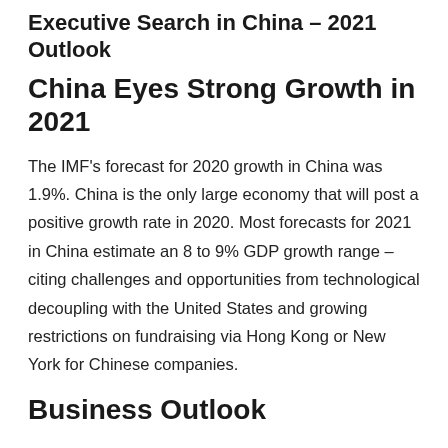Executive Search in China – 2021 Outlook
China Eyes Strong Growth in 2021
The IMF's forecast for 2020 growth in China was 1.9%. China is the only large economy that will post a positive growth rate in 2020. Most forecasts for 2021 in China estimate an 8 to 9% GDP growth range – citing challenges and opportunities from technological decoupling with the United States and growing restrictions on fundraising via Hong Kong or New York for Chinese companies.
Business Outlook